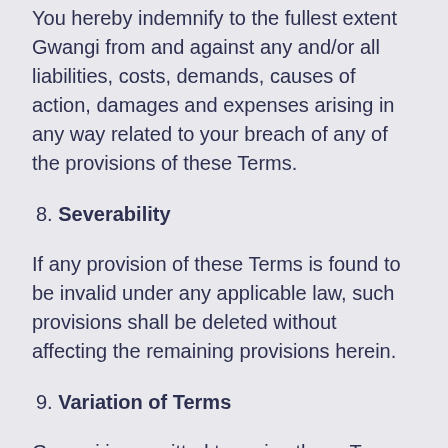You hereby indemnify to the fullest extent Gwangi from and against any and/or all liabilities, costs, demands, causes of action, damages and expenses arising in any way related to your breach of any of the provisions of these Terms.
8. Severability
If any provision of these Terms is found to be invalid under any applicable law, such provisions shall be deleted without affecting the remaining provisions herein.
9. Variation of Terms
Gwangi is permitted to revise these Terms at any time as it sees fit, and by using this Website you are expected to review these Terms on a regular basis.
10. Assignment